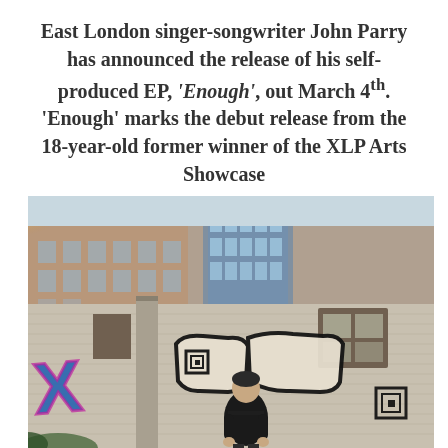East London singer-songwriter John Parry has announced the release of his self-produced EP, 'Enough', out March 4th. 'Enough' marks the debut release from the 18-year-old former winner of the XLP Arts Showcase
[Figure (photo): A young man in a black hoodie standing in front of a derelict brick building covered in large graffiti tags, with modern apartment blocks visible in the background and sunlight flaring from the upper left.]